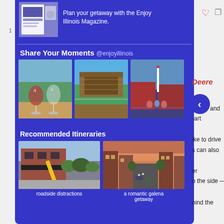[Figure (photo): Magazine promotional image showing Enjoy Illinois Magazine cover with a person]
Plan your getaway with the Enjoy Illinois Magazine.
Share Your Moments @enjoyillinois
[Figure (photo): Three social media photos: wine glasses on a golf course, a covered wooden bridge, and a Christmas themed attraction with kids]
Recommended Itineraries
[Figure (photo): Two itinerary photos: a building with a large pencil (roadside distractions) and a street view of Galena (a romantic galena getaway)]
roadside distractions
a romantic galena getaway
Deere
and
-art
ike to drive
s can also
er
o the side —
nind the